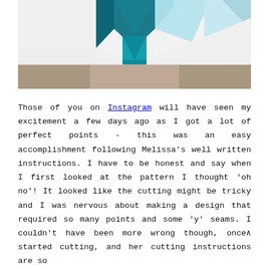[Figure (photo): A quilt block with white fabric and teal/turquoise geometric triangular star pattern, laid flat on a gray stone surface.]
Those of you on Instagram will have seen my excitement a few days ago as I got a lot of perfect points - this was an easy accomplishment following Melissa's well written instructions. I have to be honest and say when I first looked at the pattern I thought 'oh no'! It looked like the cutting might be tricky and I was nervous about making a design that required so many points and some 'y' seams. I couldn't have been more wrong though, once I started cutting, and her cutting instructions are so